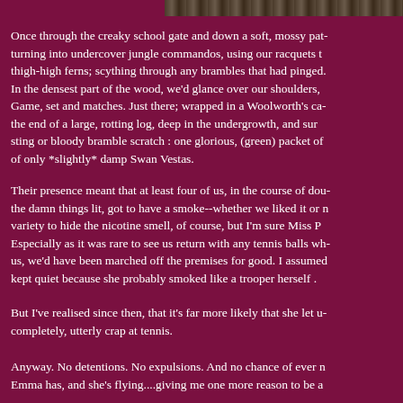[Figure (photo): Partial photo strip at top right of page showing foliage or outdoor scene]
Once through the creaky school gate and down a soft, mossy pat- turning into undercover jungle commandos, using our racquets to thigh-high ferns; scything through any brambles that had pinged. In the densest part of the wood, we'd glance over our shoulders, Game, set and matches. Just there; wrapped in a Woolworth's ca- the end of a large, rotting log, deep in the undergrowth, and sure sting or bloody bramble scratch : one glorious, (green) packet of of only *slightly* damp Swan Vestas.
Their presence meant that at least four of us, in the course of dou- the damn things lit, got to have a smoke--whether we liked it or n variety to hide the nicotine smell, of course, but I'm sure Miss P Especially as it was rare to see us return with any tennis balls wh us, we'd have been marched off the premises for good. I assumed kept quiet because she probably smoked like a trooper herself .
But I've realised since then, that it's far more likely that she let u completely, utterly crap at tennis.
Anyway. No detentions. No expulsions. And no chance of ever n Emma has, and she's flying....giving me one more reason to be a